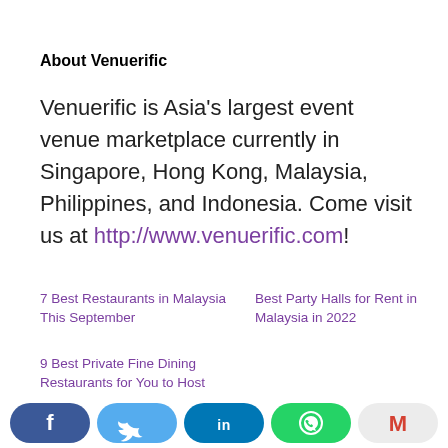About Venuerific
Venuerific is Asia's largest event venue marketplace currently in Singapore, Hong Kong, Malaysia, Philippines, and Indonesia. Come visit us at http://www.venuerific.com!
7 Best Restaurants in Malaysia This September
Best Party Halls for Rent in Malaysia in 2022
9 Best Private Fine Dining Restaurants for You to Host Events in Singapore This 2019
[Figure (infographic): Social media share buttons: Facebook (dark blue), Twitter (light blue), LinkedIn (dark teal), WhatsApp (green), Gmail (grey/white with M logo)]